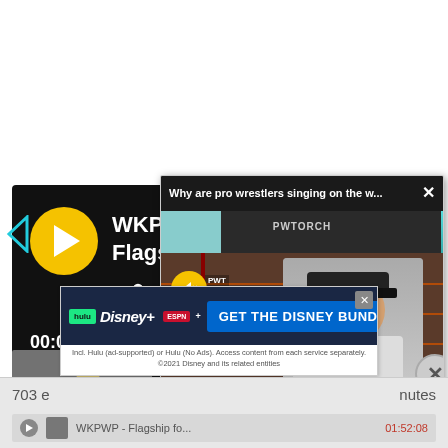[Figure (screenshot): Screenshot of a podcast audio player app showing WKPWP - Flagshi... episode with play button, share/download icons, time 00:00 and 01:5x, progress bar. Overlaid by a video popup titled 'Why are pro wrestlers singing on the w...' with an X close button, showing PWTORCH branded video of a person in a black cap in a wrestling ring. A Disney Bundle advertisement banner is also visible. Bottom shows episode list row with WKPWP - Flagship fo... episode and time 01:52:08.]
WKPWP - Flagshi...
Why are pro wrestlers singing on the w...
PWTORCH
00:00
01:5
703 e
nutes
WKPWP - Flagship fo...
01:52:08
GET THE DISNEY BUNDLE
Incl. Hulu (ad-supported) or Hulu (No Ads). Access content from each service separately. ©2021 Disney and its related entities